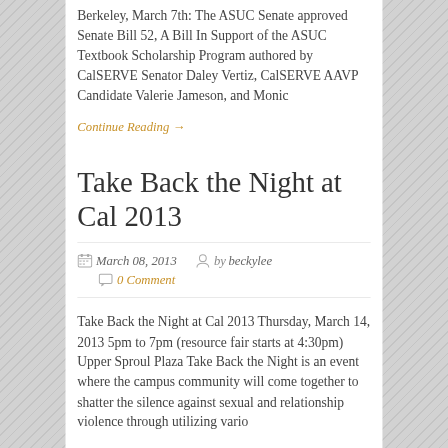Berkeley, March 7th: The ASUC Senate approved Senate Bill 52, A Bill In Support of the ASUC Textbook Scholarship Program authored by CalSERVE Senator Daley Vertiz, CalSERVE AAVP Candidate Valerie Jameson, and Monic
Continue Reading →
Take Back the Night at Cal 2013
March 08, 2013  by beckylee  0 Comment
Take Back the Night at Cal 2013 Thursday, March 14, 2013 5pm to 7pm (resource fair starts at 4:30pm) Upper Sproul Plaza Take Back the Night is an event where the campus community will come together to shatter the silence against sexual and relationship violence through utilizing vario
Continue Reading →